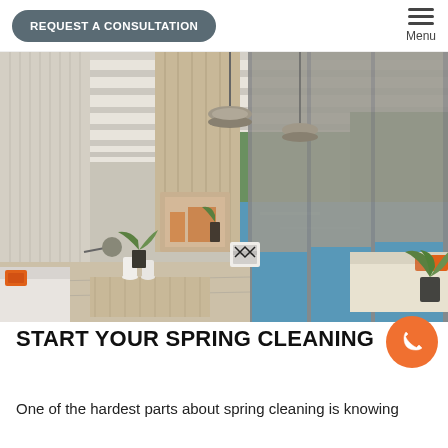REQUEST A CONSULTATION | Menu
[Figure (photo): Covered outdoor patio with gray roller shades/screens along the right side overlooking a swimming pool. The space features pendant barn lights, a wood-plank wall, sectional outdoor sofa with orange accent pillows, and teak coffee tables. Lush greenery visible outside.]
START YOUR SPRING CLEANING
One of the hardest parts about spring cleaning is knowing